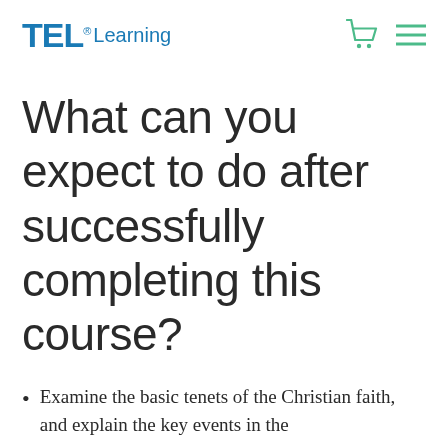TEL® Learning
What can you expect to do after successfully completing this course?
Examine the basic tenets of the Christian faith, and explain the key events in the